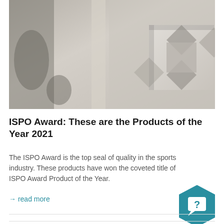[Figure (photo): Close-up photo of an ISPO Award trophy/sculpture, showing geometric angular shapes in white/grey tones, blurred background]
ISPO Award: These are the Products of the Year 2021
The ISPO Award is the top seal of quality in the sports industry. These products have won the coveted title of ISPO Award Product of the Year.
→ read more
[Figure (illustration): Teal hexagon icon with a speech bubble containing a question mark]